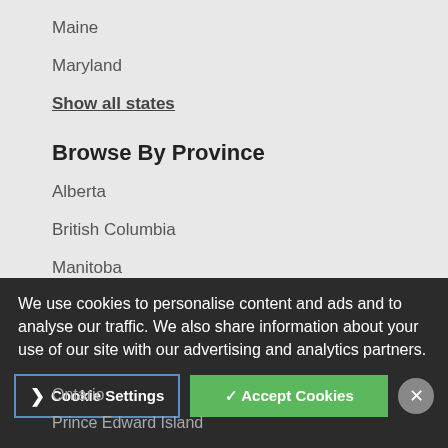Maine
Maryland
Show all states
Browse By Province
Alberta
British Columbia
Manitoba
New Brunswick
Newfoundland
Ontario
Prince Edward Island
We use cookies to personalise content and ads and to analyse our traffic. We also share information about your use of our site with our advertising and analytics partners.